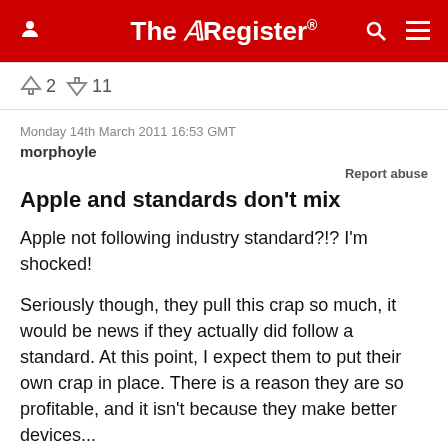The Register
↑2  ↓11
Monday 14th March 2011 16:53 GMT
morphoyle
Report abuse
Apple and standards don't mix
Apple not following industry standard?!? I'm shocked!

Seriously though, they pull this crap so much, it would be news if they actually did follow a standard. At this point, I expect them to put their own crap in place. There is a reason they are so profitable, and it isn't because they make better devices...
↑5  ↓1
Monday 14th March 2011 17:09 GMT